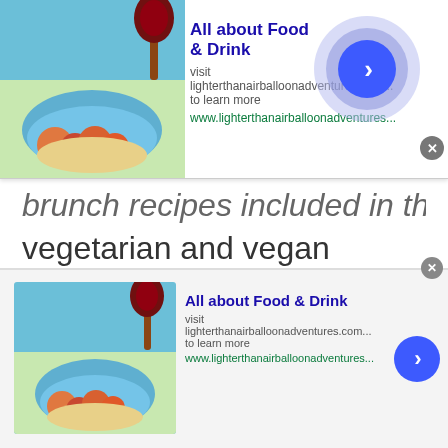[Figure (screenshot): Advertisement banner for 'All about Food & Drink' with food image, title, URL, and circular arrow button with decorative background circles]
brunch recipes included in the book, vegetarian and vegan choices, appetizers, snacks, soups and desserts.
I like how it’s easy to look up something specific in this book because there are sections for different types of food or relatives that might need some help finding new dishes. If you enjoy cooking, this book is for you.
[Figure (screenshot): Advertisement banner for 'All about Food & Drink' with food image, title, URL, and circular arrow button]